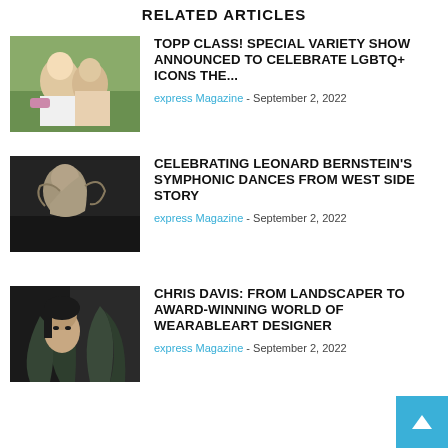RELATED ARTICLES
[Figure (photo): Two people hugging outdoors with greenery background]
TOPP CLASS! SPECIAL VARIETY SHOW ANNOUNCED TO CELEBRATE LGBTQ+ ICONS THE...
express Magazine - September 2, 2022
[Figure (photo): Black and white photo of Leonard Bernstein conducting]
CELEBRATING LEONARD BERNSTEIN'S SYMPHONIC DANCES FROM WEST SIDE STORY
express Magazine - September 2, 2022
[Figure (photo): Woman with dark hair among palm leaves]
CHRIS DAVIS: FROM LANDSCAPER TO AWARD-WINNING WORLD OF WEARABLEART DESIGNER
express Magazine - September 2, 2022